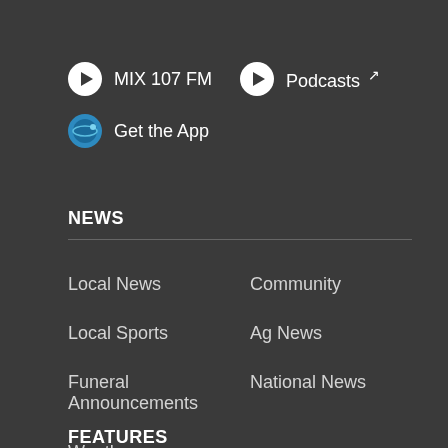MIX 107 FM
Podcasts
Get the App
NEWS
Local News
Community
Local Sports
Ag News
Funeral Announcements
National News
Weather
FEATURES